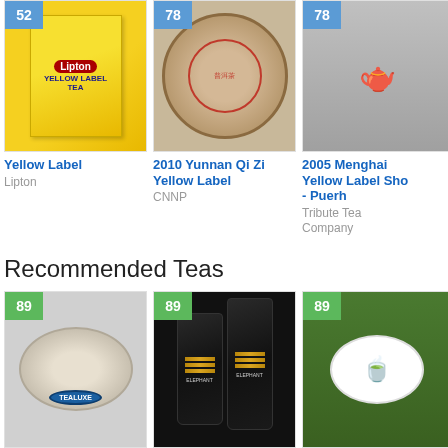[Figure (photo): Lipton Yellow Label Tea box with score badge 52]
Yellow Label
Lipton
[Figure (photo): 2010 Yunnan Qi Zi Yellow Label puerh disk with score badge 78]
2010 Yunnan Qi Zi Yellow Label
CNNP
[Figure (photo): 2005 Menghai Yellow Label Sho - Puerh with teapot, score badge 78]
2005 Menghai Yellow Label Sho - Puerh
Tribute Tea Company
Recommended Teas
[Figure (photo): Creme de la Earl Grey tea in a bowl with Tealuxe logo, score 89]
Creme de la Earl Grey
[Figure (photo): Royal Ceylon Flowery Black Tea in Elephant brand black bags, score 89]
Royal Ceylon Flowery Black Tea
[Figure (photo): Alice tea in a white bowl on a bamboo mat, score 89]
Alice